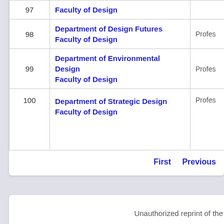| # | Department / Faculty | Type |
| --- | --- | --- |
| 97 | Department of Design
Faculty of Design | Profes... |
| 98 | Department of Design Futures
Faculty of Design | Profes... |
| 99 | Department of Environmental Design
Faculty of Design | Profes... |
| 100 | Department of Strategic Design
Faculty of Design | Profes... |
First   Previous
Unauthorized reprint of the